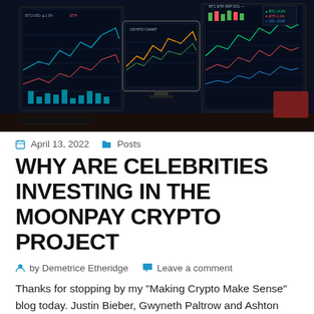[Figure (photo): Multiple trading screens showing financial charts and cryptocurrency data on a dark desk setup]
April 13, 2022   Posts
WHY ARE CELEBRITIES INVESTING IN THE MOONPAY CRYPTO PROJECT
by Demetrice Etheridge   Leave a comment
Thanks for stopping by my “Making Crypto Make Sense” blog today. Justin Bieber, Gwyneth Paltrow and Ashton Kutcher Invest Into Crypto StartUp MoonPay The deal…